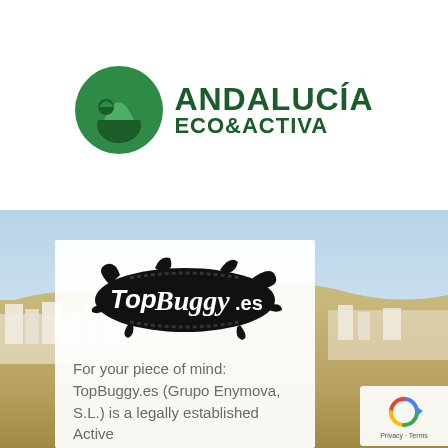[Figure (logo): Andalucia Eco & Activa logo with green mountain/leaf icon and green bold text]
[Figure (photo): Landscape photo of Andalucian countryside with blue sky, dry fields, and white village buildings in background]
[Figure (logo): TopBuggy.es logo in black ink splatter style with white stylized text]
For your piece of mind: TopBuggy.es (Grupo Enymova, S.L.) is a legally established Active